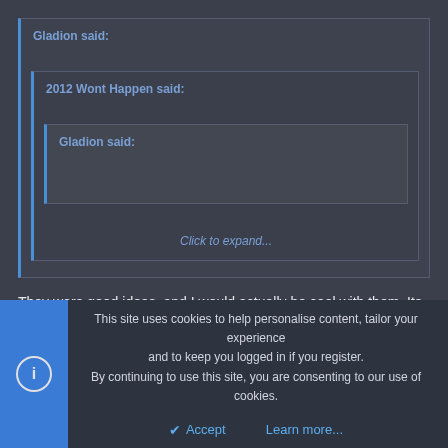Gladion said:
2012 Wont Happen said:
Gladion said:
Click to expand...
They were good ideas, and I would actually be cool with them. Its just that other people might not like having my teeth in their bottles of spray paint and such.
This site uses cookies to help personalise content, tailor your experience and to keep you logged in if you register.
By continuing to use this site, you are consenting to our use of cookies.
Accept
Learn more...